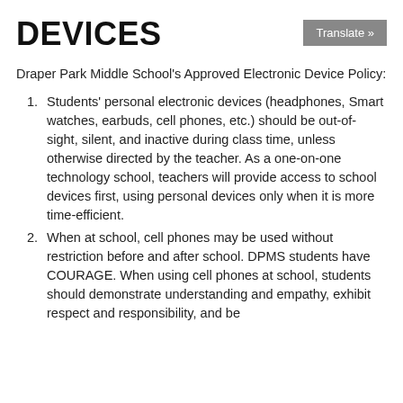DEVICES
Translate »
Draper Park Middle School's Approved Electronic Device Policy:
Students' personal electronic devices (headphones, Smart watches, earbuds, cell phones, etc.) should be out-of-sight, silent, and inactive during class time, unless otherwise directed by the teacher. As a one-on-one technology school, teachers will provide access to school devices first, using personal devices only when it is more time-efficient.
When at school, cell phones may be used without restriction before and after school. DPMS students have COURAGE. When using cell phones at school, students should demonstrate understanding and empathy, exhibit respect and responsibility, and be